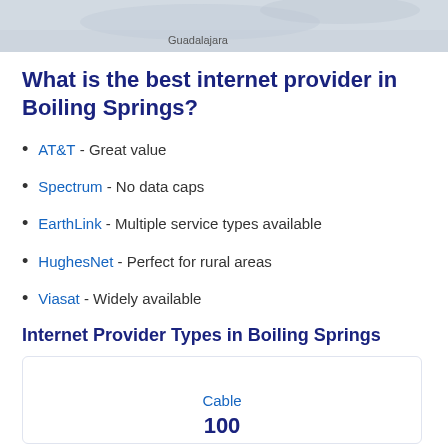[Figure (map): Partial map image showing geographic area with 'Guadalajara' label visible]
What is the best internet provider in Boiling Springs?
AT&T - Great value
Spectrum - No data caps
EarthLink - Multiple service types available
HughesNet - Perfect for rural areas
Viasat - Widely available
Internet Provider Types in Boiling Springs
[Figure (infographic): Chart box showing Cable internet type with 100% label partially visible]